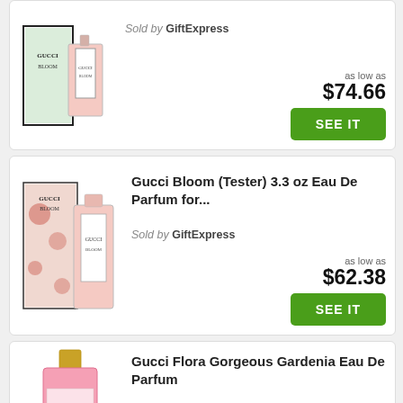[Figure (photo): Gucci Bloom perfume bottles with floral green and white box]
Sold by GiftExpress
as low as $74.66
SEE IT
[Figure (photo): Gucci Bloom Tester perfume with red floral box and pink bottle]
Gucci Bloom (Tester) 3.3 oz Eau De Parfum for...
Sold by GiftExpress
as low as $62.38
SEE IT
[Figure (photo): Gucci Flora Gorgeous Gardenia pink perfume bottle with floral design]
Gucci Flora Gorgeous Gardenia Eau De Parfum
Sold by Skimlinks
as low as $149.00